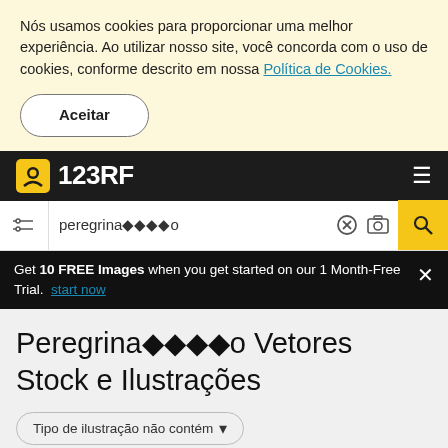Nós usamos cookies para proporcionar uma melhor experiência. Ao utilizar nosso site, você concorda com o uso de cookies, conforme descrito em nossa Política de Cookies.
Aceitar
123RF
peregrina????o
Get 10 FREE Images when you get started on our 1 Month-Free Trial. start now
Peregrina????o Vetores Stock e Ilustrações
Tipo de ilustração não contém...